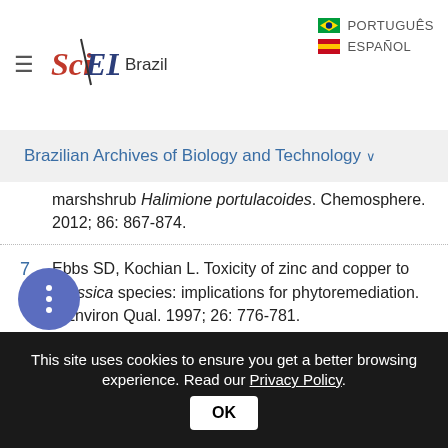SciELO Brazil | PORTUGUÊS | ESPAÑOL
Brazilian Archives of Biology and Technology
marshshrub Halimione portulacoides. Chemosphere. 2012; 86: 867-874.
7 Ebbs SD, Kochian L. Toxicity of zinc and copper to Brassica species: implications for phytoremediation. J Environ Qual. 1997; 26: 776-781.
8 Li X, Yang Y, Jia L, Chen H, Wei X. Zinc-induced oxidative damage, antioxidant enzyme response and proline metabolism in roots and leaves of wheat plants. Ecotoxicol Environ Saf. 2013; 89: 150-157.
This site uses cookies to ensure you get a better browsing experience. Read our Privacy Policy.